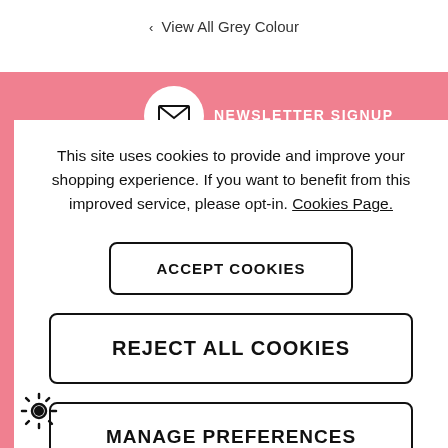‹ View All Grey Colour
[Figure (illustration): Pink banner with circular envelope icon and NEWSLETTER SIGNUP text in white]
This site uses cookies to provide and improve your shopping experience. If you want to benefit from this improved service, please opt-in. Cookies Page.
ACCEPT COOKIES
REJECT ALL COOKIES
MANAGE PREFERENCES